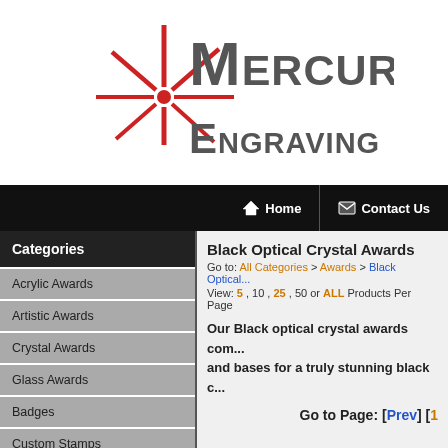[Figure (logo): Mercury Engraving LLC logo with red starburst/laser graphic and gray text]
Home | Contact Us
Categories
Acrylic Awards
Artistic Awards
Crystal Awards
Glass Awards
Badges
Custom Stamps
Black Optical Crystal Awards
Go to: All Categories > Awards > Black Optical...
View: 5 , 10 , 25 , 50 or ALL Products Per Page
Our Black optical crystal awards com... and bases for a truly stunning black c...
Go to Page: [ Prev ] [ 1